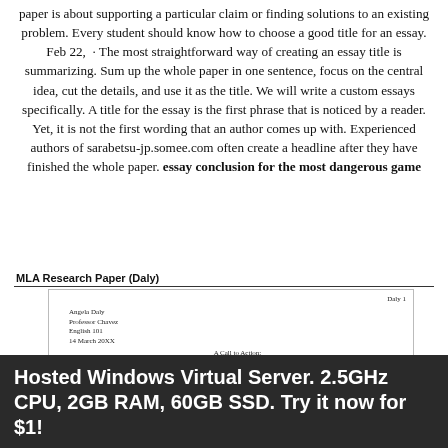paper is about supporting a particular claim or finding solutions to an existing problem. Every student should know how to choose a good title for an essay. Feb 22, · The most straightforward way of creating an essay title is summarizing. Sum up the whole paper in one sentence, focus on the central idea, cut the details, and use it as the title. We will write a custom essays specifically. A title for the essay is the first phrase that is noticed by a reader. Yet, it is not the first wording that an author comes up with. Experienced authors of sarabetsu-jp.somee.com often create a headline after they have finished the whole paper. essay conclusion for the most dangerous game
[Figure (screenshot): MLA Research Paper (Daly) format example showing a document titled 'A Call to Action: Regulate Use of Cell Phones on the Road' by Angela Daly, Professor Chavez, English 101, 14 March 20XX with annotations indicating 'Title is centered' and 'Opening sentences catch readers' attention.']
Hosted Windows Virtual Server. 2.5GHz CPU, 2GB RAM, 60GB SSD. Try it now for $1!